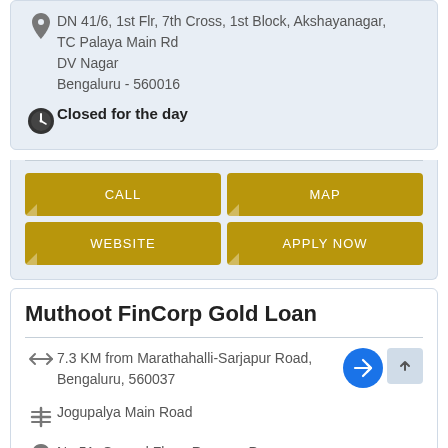DN 41/6, 1st Flr, 7th Cross, 1st Block, Akshayanagar, TC Palaya Main Rd DV Nagar Bengaluru - 560016
Closed for the day
CALL
MAP
WEBSITE
APPLY NOW
Muthoot FinCorp Gold Loan
7.3 KM from Marathahalli-Sarjapur Road, Bengaluru, 560037
Jogupalya Main Road
No 51, Ground Floor, Ramana Prema Jogupalya Main Road Bengaluru - 560008